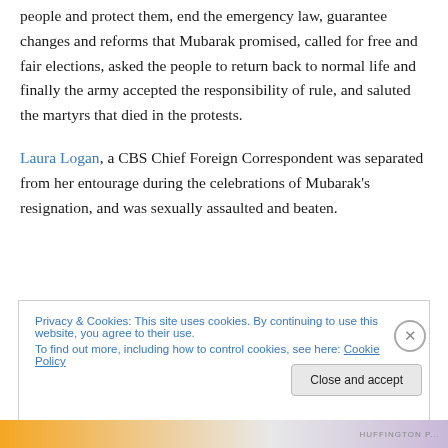people and protect them, end the emergency law, guarantee changes and reforms that Mubarak promised, called for free and fair elections, asked the people to return back to normal life and finally the army accepted the responsibility of rule, and saluted the martyrs that died in the protests.
Laura Logan, a CBS Chief Foreign Correspondent was separated from her entourage during the celebrations of Mubarak's resignation, and was sexually assaulted and beaten.
Privacy & Cookies: This site uses cookies. By continuing to use this website, you agree to their use.
To find out more, including how to control cookies, see here: Cookie Policy